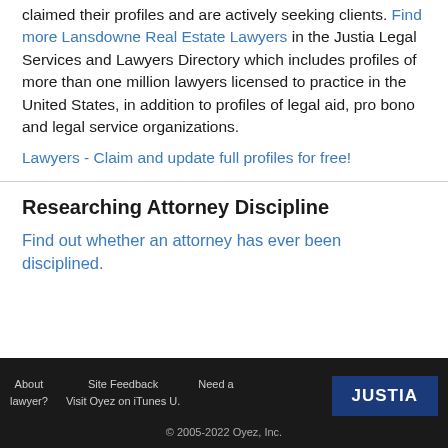claimed their profiles and are actively seeking clients. Find more Lansdowne Real Estate Lawyers in the Justia Legal Services and Lawyers Directory which includes profiles of more than one million lawyers licensed to practice in the United States, in addition to profiles of legal aid, pro bono and legal service organizations.
Lawyers - Claim and update full profiles for free!
Researching Attorney Discipline
Find out whether an attorney has ever been disciplined.
About lawyer? | Site Feedback | Need a Visit Oyez on iTunes U. | JUSTIA | © 2005-2022 Oyez, Inc.